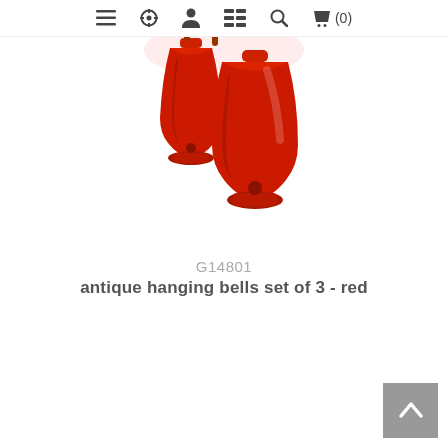☰ ⚙ 👤 ⊞ 🔍 🛍 (0)
[Figure (photo): Red antique hanging bells set of 3, product photo on white background]
G14801
antique hanging bells set of 3 - red